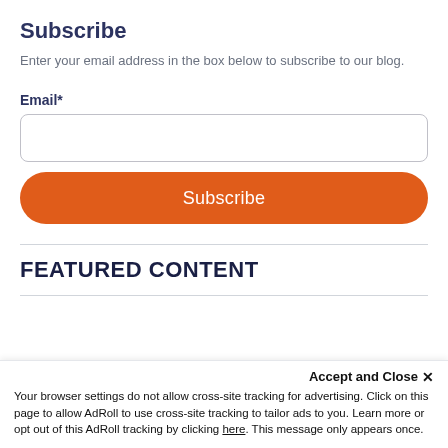Subscribe
Enter your email address in the box below to subscribe to our blog.
Email*
FEATURED CONTENT
Accept and Close ✕
Your browser settings do not allow cross-site tracking for advertising. Click on this page to allow AdRoll to use cross-site tracking to tailor ads to you. Learn more or opt out of this AdRoll tracking by clicking here. This message only appears once.